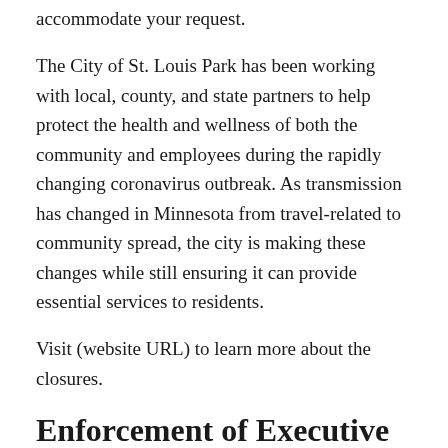accommodate your request.
The City of St. Louis Park has been working with local, county, and state partners to help protect the health and wellness of both the community and employees during the rapidly changing coronavirus outbreak. As transmission has changed in Minnesota from travel-related to community spread, the city is making these changes while still ensuring it can provide essential services to residents.
Visit (website URL) to learn more about the closures.
Enforcement of Executive Order
Cities may also have to enforce restrictions of private businesses, using local law enforcement if necessary. Private establishments are subject to restrictions set